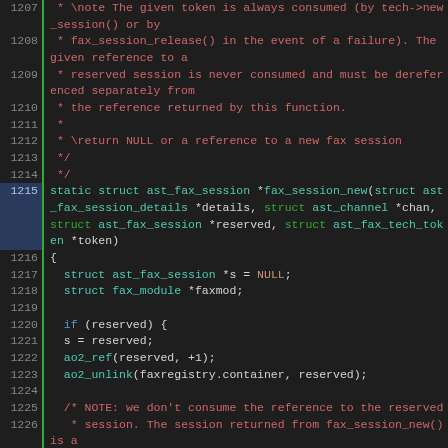[Figure (screenshot): Source code viewer showing C code lines 1207-1230, syntax highlighted. Comments in red, types/keywords in teal, green identifiers, blue keywords, default white text. Line numbers on left with green vertical bar separator. Line 1215 highlighted in blue. Code shows fax_session_new function definition with documentation comments.]